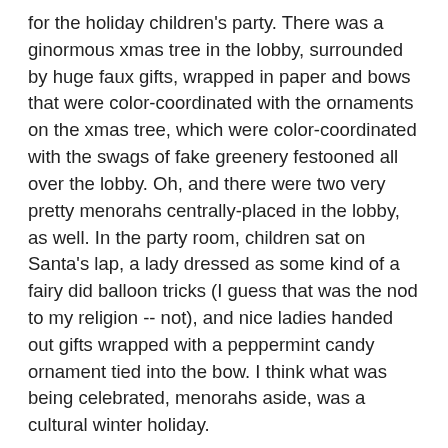for the holiday children's party. There was a ginormous xmas tree in the lobby, surrounded by huge faux gifts, wrapped in paper and bows that were color-coordinated with the ornaments on the xmas tree, which were color-coordinated with the swags of fake greenery festooned all over the lobby. Oh, and there were two very pretty menorahs centrally-placed in the lobby, as well. In the party room, children sat on Santa's lap, a lady dressed as some kind of a fairy did balloon tricks (I guess that was the nod to my religion -- not), and nice ladies handed out gifts wrapped with a peppermint candy ornament tied into the bow. I think what was being celebrated, menorahs aside, was a cultural winter holiday.
Religious holidays, on the other hand, are what we celebrate in our homes and at our places of worship. (OK, I don't have a set "place of worship." Today, I saw a lovely t-shirt that said, "Surely you can pray for me and I can dance naked in the woods for you." I loved that! But if I had "A" place of worship, I guess that it would be the woods.) So the CLRCR can go fuck itself. If they want to celebrate fucking xmas so much, they can go fucking celebrate it in their fucking churches and leave the rest of us the fuck alone. Otherwise,